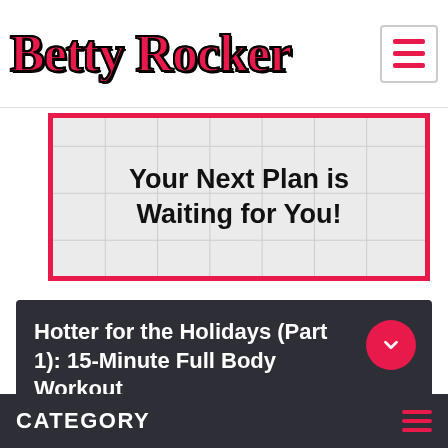Betty Rocker
[Figure (illustration): Calendar grid banner with pink border showing text 'Your Next Plan is Waiting for You!']
Your Next Plan is Waiting for You!
Hotter for the Holidays (Part 1): 15-Minute Full Body Workout
Click to expand and see all workout move descriptions.
CATEGORY